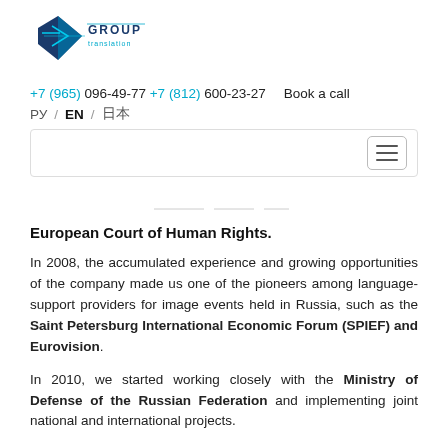[Figure (logo): VG Group Translation company logo — blue geometric diamond/arrow shape with 'GROUP translation' text in teal/dark blue]
+7 (965) 096-49-77 +7 (812) 600-23-27   Book a call
РУ / EN / 日本
European Court of Human Rights.
In 2008, the accumulated experience and growing opportunities of the company made us one of the pioneers among language-support providers for image events held in Russia, such as the Saint Petersburg International Economic Forum (SPIEF) and Eurovision.
In 2010, we started working closely with the Ministry of Defense of the Russian Federation and implementing joint national and international projects.